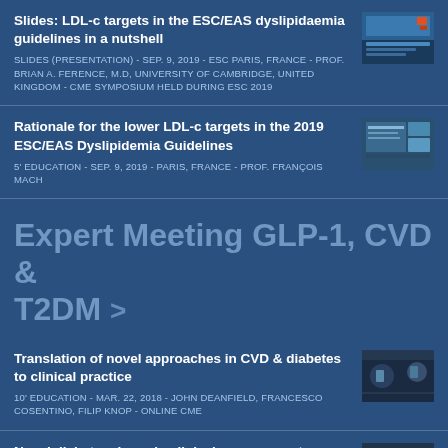Slides: LDL-c targets in the ESC/EAS dyslipidaemia guidelines in a nutshell
SLIDES (PRESENTATION) - SEP. 9, 2019 - ESC PARIS, FRANCE - PROF. BRIAN A. FERENCE, M.D, UNIVERSITY OF CAMBRIDGE, UNITED KINGDOM - CME SYMPOSIUM HELD DURING ESC 2019
Rationale for the lower LDL-c targets in the 2019 ESC/EAS Dyslipidemia Guidelines
5' EDUCATION - SEP. 9, 2019 - PARIS, FRANCE - PROF. FRANÇOIS MACH
Expert Meeting GLP-1, CVD & T2DM >
Translation of novel approaches in CVD & diabetes to clinical practice
10' EDUCATION - MAR. 22, 2018 - JOHN DEANFIELD, FRANCESCO COSENTINO, FILIP KNOP - ONLINE CME
Novel diabetes drugs in clinical management: